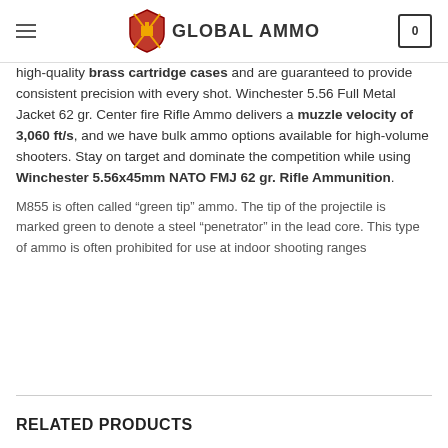GLOBAL AMMO
high-quality brass cartridge cases and are guaranteed to provide consistent precision with every shot. Winchester 5.56 Full Metal Jacket 62 gr. Center fire Rifle Ammo delivers a muzzle velocity of 3,060 ft/s, and we have bulk ammo options available for high-volume shooters. Stay on target and dominate the competition while using Winchester 5.56x45mm NATO FMJ 62 gr. Rifle Ammunition.
M855 is often called “green tip” ammo. The tip of the projectile is marked green to denote a steel “penetrator” in the lead core. This type of ammo is often prohibited for use at indoor shooting ranges
RELATED PRODUCTS